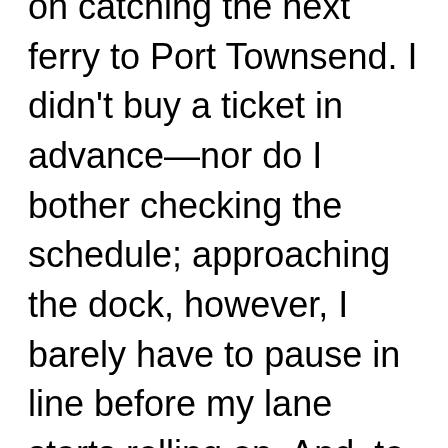on catching the next ferry to Port Townsend. I didn't buy a ticket in advance—nor do I bother checking the schedule; approaching the dock, however, I barely have to pause in line before my lane starts rolling on. And, to my surprise, rides back to the Quimper Peninsula are free.